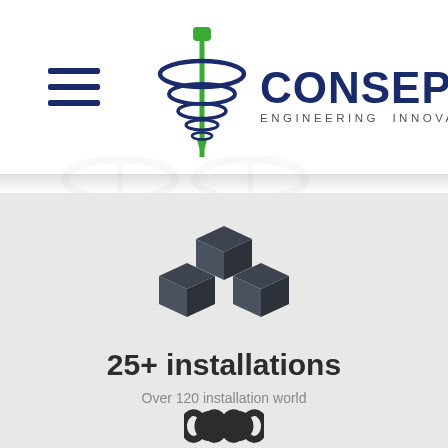[Figure (logo): CONSEP Engineering Innovation logo with tornado/drill icon and hamburger menu]
[Figure (infographic): Three stacked 3D cubes icon representing installations]
25+ installations
Over 120 installation world wide
[Figure (infographic): Infinity symbol icon at bottom of page]